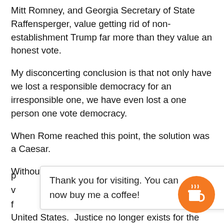Mitt Romney, and Georgia Secretary of State Raffensperger, value getting rid of non-establishment Trump far more than they value an honest vote.
My disconcerting conclusion is that not only have we lost a responsible democracy for an irresponsible one, we have even lost a one person one vote democracy.
When Rome reached this point, the solution was a Caesar.
Without even a one person one vote check on [obscured by popup] comes [obscured] wh[o] [obscured] s in [obscured] United States. Justice no longer exists for the just.
Thank you for visiting. You can now buy me a coffee!